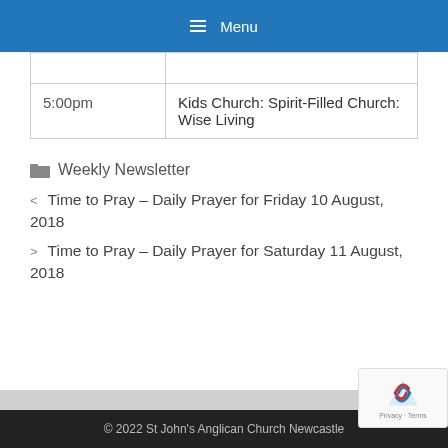Menu
| 5:00pm | Kids Church: Spirit-Filled Church: Wise Living |
Weekly Newsletter
< Time to Pray – Daily Prayer for Friday 10 August, 2018
> Time to Pray – Daily Prayer for Saturday 11 August, 2018
© 2022 St John's Anglican Church Newcastle